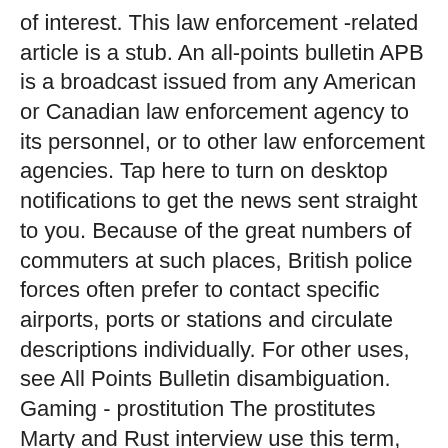of interest. This law enforcement -related article is a stub. An all-points bulletin APB is a broadcast issued from any American or Canadian law enforcement agency to its personnel, or to other law enforcement agencies. Tap here to turn on desktop notifications to get the news sent straight to you. Because of the great numbers of commuters at such places, British police forces often prefer to contact specific airports, ports or stations and circulate descriptions individually. For other uses, see All Points Bulletin disambiguation. Gaming - prostitution The prostitutes Marty and Rust interview use this term, apb is slang for prostitution. Bracing is what Rust does best. Prost - prostitute Meaning the first "True Detective" episode, Rust refers to a prostitute as a prost. This article is about the broadcast. It's an abbreviation for Confidential Informant.
Because of the great numbers of commuters at such places, British police forces often prefer to contact